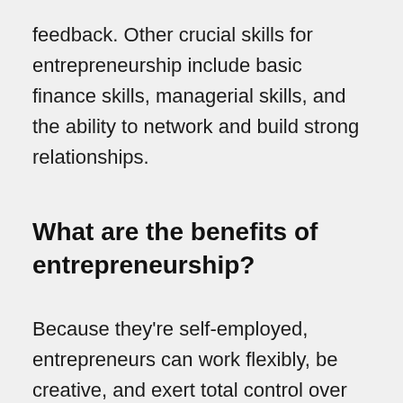feedback. Other crucial skills for entrepreneurship include basic finance skills, managerial skills, and the ability to network and build strong relationships.
What are the benefits of entrepreneurship?
Because they're self-employed, entrepreneurs can work flexibly, be creative, and exert total control over their business and decisions, all while following their passion and unlocking